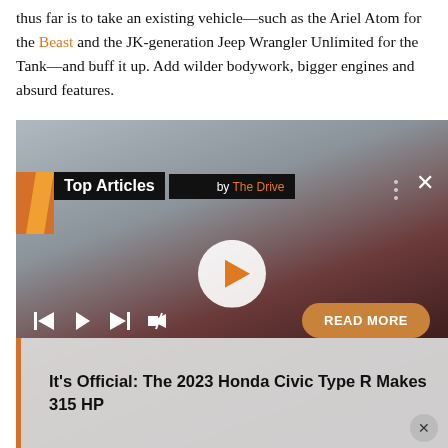thus far is to take an existing vehicle—such as the Ariel Atom for the Beast and the JK-generation Jeep Wrangler Unlimited for the Tank—and buff it up. Add wilder bodywork, bigger engines and absurd features.
[Figure (screenshot): Embedded video player widget showing a red Honda Civic Type R from the rear three-quarter angle on a racetrack. The widget has a 'Top Articles by The Drive' banner in the top-left, a circular play button in the center, media controls (skip back, play, skip forward, mute) at the bottom-left, a 'READ MORE' button at the bottom-right, and an article title caption 'It's Official: The 2023 Honda Civic Type R Makes 315 HP' at the bottom.]